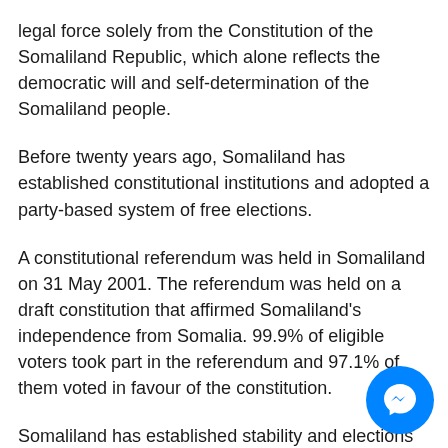legal force solely from the Constitution of the Somaliland Republic, which alone reflects the democratic will and self-determination of the Somaliland people.
Before twenty years ago, Somaliland has established constitutional institutions and adopted a party-based system of free elections.
A constitutional referendum was held in Somaliland on 31 May 2001. The referendum was held on a draft constitution that affirmed Somaliland's independence from Somalia. 99.9% of eligible voters took part in the referendum and 97.1% of them voted in favour of the constitution.
Somaliland has established stability and elections to take over power, with the support